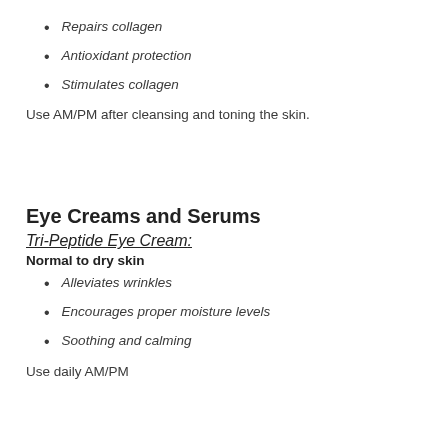Repairs collagen
Antioxidant protection
Stimulates collagen
Use AM/PM after cleansing and toning the skin.
Eye Creams and Serums
Tri-Peptide Eye Cream:
Normal to dry skin
Alleviates wrinkles
Encourages proper moisture levels
Soothing and calming
Use daily AM/PM